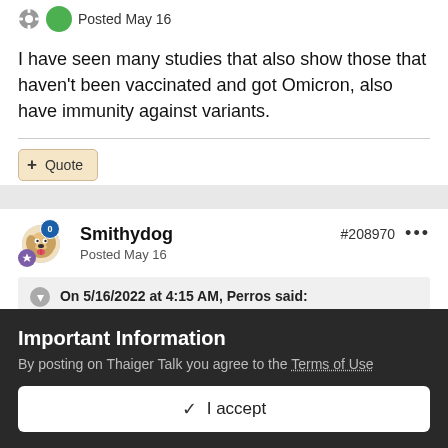Posted May 16
I have seen many studies that also show those that haven't been vaccinated and got Omicron, also have immunity against variants.
+ Quote
Smithydog
Posted May 16
#208970
On 5/16/2022 at 4:15 AM, Perros said:
Important Information
By posting on Thaiger Talk you agree to the Terms of Use
✓  I accept